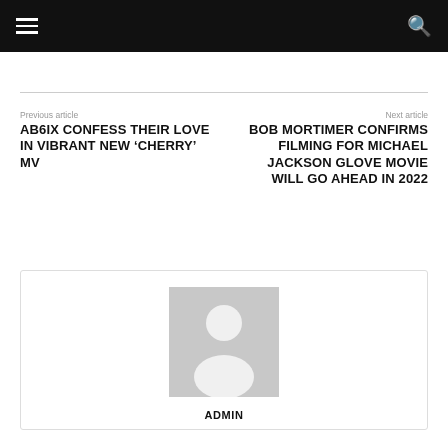Previous article
AB6IX CONFESS THEIR LOVE IN VIBRANT NEW 'CHERRY' MV
Next article
BOB MORTIMER CONFIRMS FILMING FOR MICHAEL JACKSON GLOVE MOVIE WILL GO AHEAD IN 2022
[Figure (photo): Author avatar placeholder - grey silhouette of a person]
ADMIN